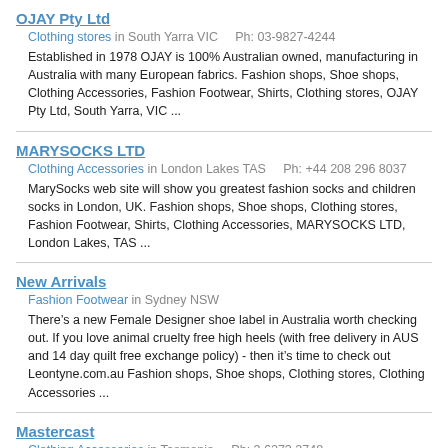OJAY Pty Ltd
Clothing stores in South Yarra VIC    Ph: 03-9827-4244
Established in 1978 OJAY is 100% Australian owned, manufacturing in Australia with many European fabrics. Fashion shops, Shoe shops, Clothing Accessories, Fashion Footwear, Shirts, Clothing stores, OJAY Pty Ltd, South Yarra, VIC ...
MARYSOCKS LTD
Clothing Accessories in London Lakes TAS    Ph: +44 208 296 8037
MarySocks web site will show you greatest fashion socks and children socks in London, UK. Fashion shops, Shoe shops, Clothing stores, Fashion Footwear, Shirts, Clothing Accessories, MARYSOCKS LTD, London Lakes, TAS ...
New Arrivals
Fashion Footwear in Sydney NSW
There’s a new Female Designer shoe label in Australia worth checking out. If you love animal cruelty free high heels (with free delivery in AUS and 14 day quilt free exchange policy) - then it’s time to check out Leontyne.com.au Fashion shops, Shoe shops, Clothing stores, Clothing Accessories ...
Mastercast
Clothing Accessories in Tasmania    Ph: 3 6273 2748